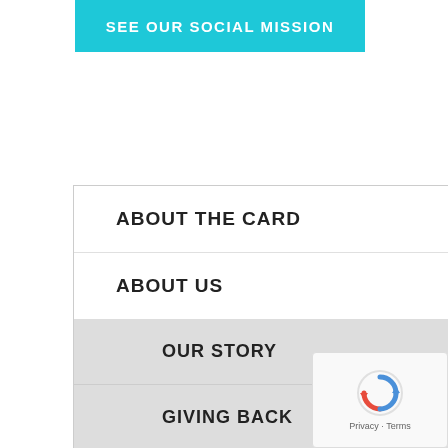SEE OUR SOCIAL MISSION
ABOUT THE CARD
ABOUT US
OUR STORY
GIVING BACK
PARTNERS
REVIEWS
[Figure (other): reCAPTCHA privacy badge with spinning arrows icon and Privacy · Terms text]